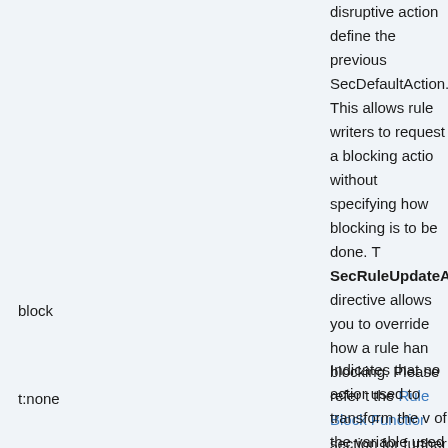disruptive action define the previous SecDefaultAction. This allows rule writers to request a blocking action without specifying how blocking is to be done. The SecRuleUpdateAction directive allows you to override how a rule handles blocking. Please refer to the Rule Block Function section for further details.
block
t:none
Indicates that no action used to transform the value of the variable used in the rule before matching.